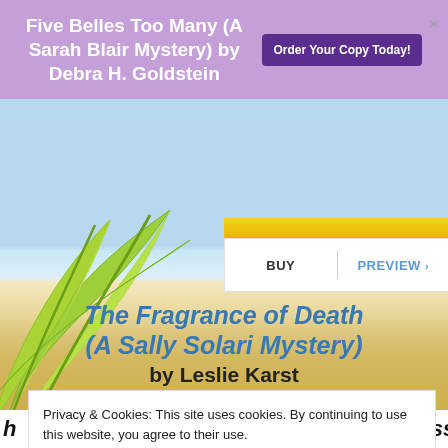Five Belles Too Many (A Sarah Blair Mystery) by Debra H. Goldstein
Order Your Copy Today!
BUY | PREVIEW
The Fragrance of Death (A Sally Solari Mystery)
by Leslie Karst
Cozy Mystery
5th in Series
Privacy & Cookies: This site uses cookies. By continuing to use this website, you agree to their use.
To find out more, including how to control cookies, see here:
Cookie Policy
Close and accept
but when her sense of smell goes missing, it's